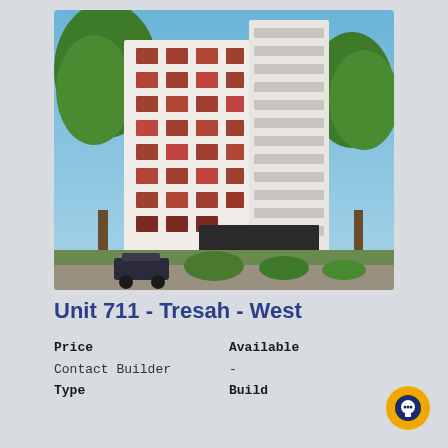[Figure (photo): Exterior rendering of a modern high-rise residential condominium building with white and terracotta/red balcony facade, blue sky, trees surrounding, and a car parked in front]
Unit 711 - Tresah - West
Price
Contact Builder
Type
Available
-
Build